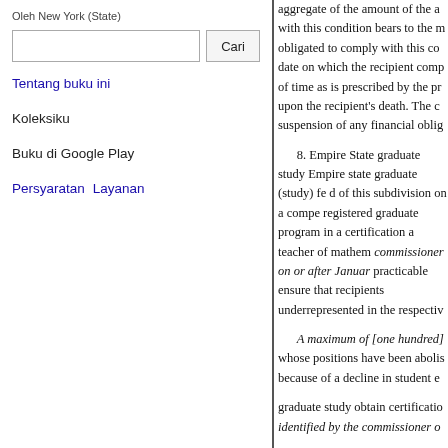Oleh New York (State)
Cari
Tentang buku ini
Koleksiku
Buku di Google Play
Persyaratan  Layanan
aggregate of the amount of the a with this condition bears to the m obligated to comply with this co date on which the recipient comp of time as is prescribed by the pr upon the recipient's death. The c suspension of any financial oblig

8. Empire State graduate study Empire state graduate (study) fe d of this subdivision on a compe registered graduate program in a certification a teacher of mathem commissioner on or after Januar practicable ensure that recipients underrepresented in the respectiv

A maximum of [one hundred] whose positions have been abolis because of a decline in student e

graduate study obtain certificatio identified by the commissioner o

A maximum of one hundred s who have earned baccalaureate